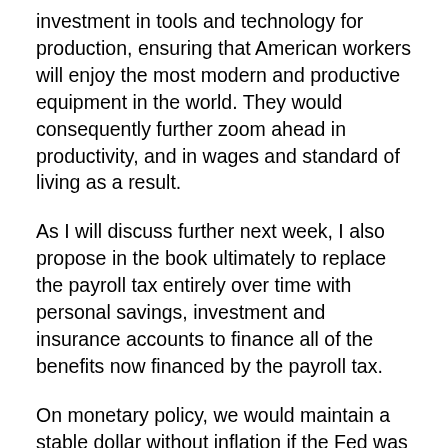investment in tools and technology for production, ensuring that American workers will enjoy the most modern and productive equipment in the world. They would consequently further zoom ahead in productivity, and in wages and standard of living as a result.
As I will discuss further next week, I also propose in the book ultimately to replace the payroll tax entirely over time with personal savings, investment and insurance accounts to finance all of the benefits now financed by the payroll tax.
On monetary policy, we would maintain a stable dollar without inflation if the Fed was tethered to a price rule in its conduct of monetary policy. That means the Fed would be guided by market prices for gold, silver, oil, and other key commodities, as well as the dollar, in determining monetary policy. When